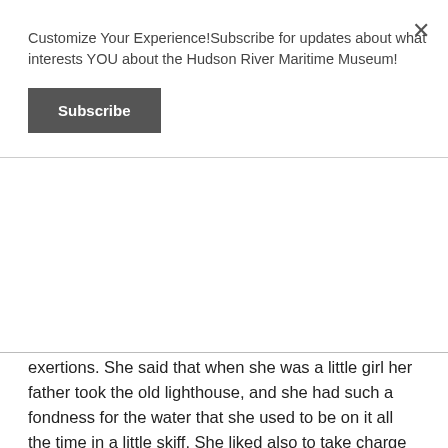Customize Your Experience!Subscribe for updates about what interests YOU about the Hudson River Maritime Museum!
Subscribe
exertions. She said that when she was a little girl her father took the old lighthouse, and she had such a fondness for the water that she used to be on it all the time in a little skiff. She liked also to take charge of the light, see that the oil was in good condition, and attend to all lighthouse matters, so that her father by the time she was fifteen years of age had come to depend entirely upon for the care of the lighthouse. About nine years ago, when the new lighthouse was built -  work which she had watched at every stage of its progress with a great deal of interest - her
FATHER SUDDENLY BECAME BLIND